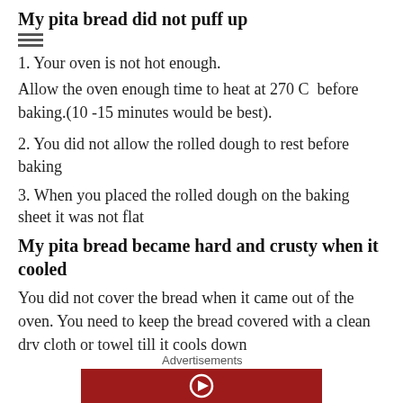My pita bread did not puff up
1. Your oven is not hot enough.
Allow the oven enough time to heat at 270 C  before baking.(10 -15 minutes would be best).
2. You did not allow the rolled dough to rest before baking
3. When you placed the rolled dough on the baking sheet it was not flat
My pita bread became hard and crusty when it cooled
You did not cover the bread when it came out of the oven. You need to keep the bread covered with a clean dry cloth or towel till it cools down
Advertisements
[Figure (other): Red advertisement banner at the bottom of the page]